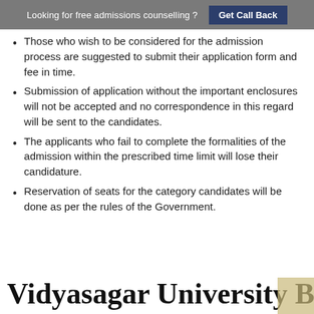Looking for free admissions counselling ? Get Call Back
Those who wish to be considered for the admission process are suggested to submit their application form and fee in time.
Submission of application without the important enclosures will not be accepted and no correspondence in this regard will be sent to the candidates.
The applicants who fail to complete the formalities of the admission within the prescribed time limit will lose their candidature.
Reservation of seats for the category candidates will be done as per the rules of the Government.
Vidyasagar University B.Ed